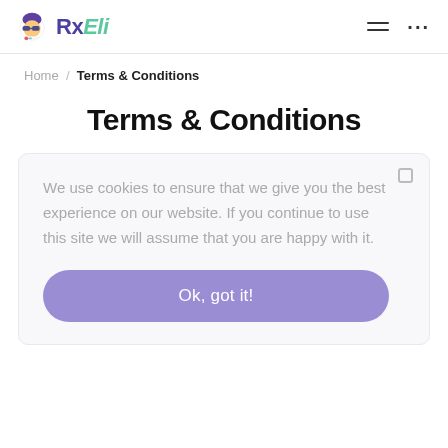RxEli — Terms & Conditions
Home / Terms & Conditions
Terms & Conditions
We use cookies to ensure that we give you the best experience on our website. If you continue to use this site we will assume that you are happy with it.
Ok, got it!